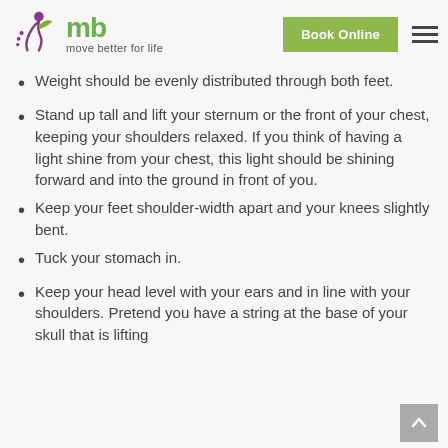mb move better for life | Book Online
Weight should be evenly distributed through both feet.
Stand up tall and lift your sternum or the front of your chest, keeping your shoulders relaxed. If you think of having a light shine from your chest, this light should be shining forward and into the ground in front of you.
Keep your feet shoulder-width apart and your knees slightly bent.
Tuck your stomach in.
Keep your head level with your ears and in line with your shoulders. Pretend you have a string at the base of your skull that is lifting